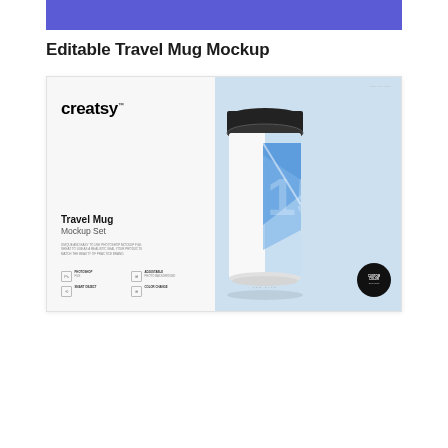[Figure (illustration): Purple/indigo horizontal bar at top of page]
Editable Travel Mug Mockup
[Figure (photo): Creatsy Travel Mug Mockup Set product preview image showing a white travel mug with dark lid and blue graphic design, on a split white and light blue background with Creatsy logo, product title 'Travel Mug Mockup Set', feature icons, and custom color badge.]